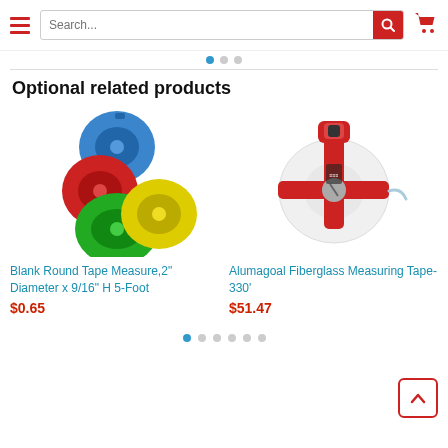Search... [search button] [cart icon]
Optional related products
[Figure (photo): Colorful round tape measures in blue, red, green, and yellow colors]
Blank Round Tape Measure,2" Diameter x 9/16" H 5-Foot
$0.65
[Figure (photo): Alumagoal Fiberglass Measuring Tape with red frame on white reel]
Alumagoal Fiberglass Measuring Tape-330'
$51.47